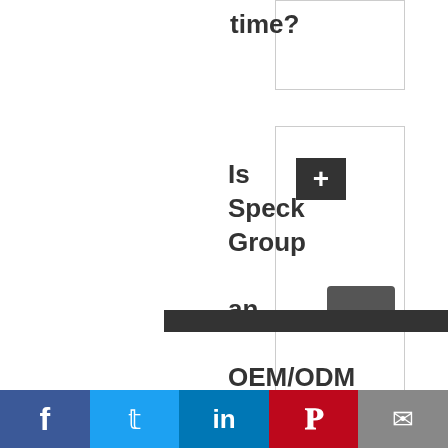time?
Is Speck Group an OEM/ODM manufacturer of fitness equipment?
[Figure (screenshot): Social sharing bar with Facebook, Twitter, LinkedIn, Pinterest, and email icons]
Social share bar: Facebook, Twitter, LinkedIn, Pinterest, Email